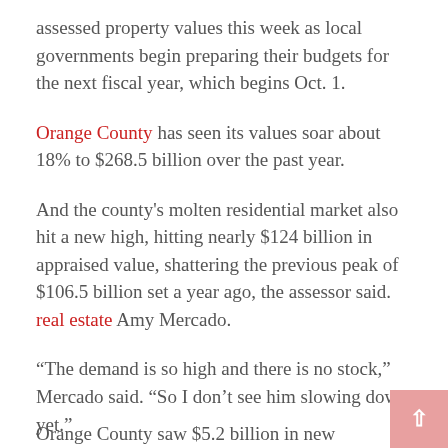assessed property values this week as local governments begin preparing their budgets for the next fiscal year, which begins Oct. 1.
Orange County has seen its values soar about 18% to $268.5 billion over the past year.
And the county's molten residential market also hit a new high, hitting nearly $124 billion in appraised value, shattering the previous peak of $106.5 billion set a year ago, the assessor said. real estate Amy Mercado.
“The demand is so high and there is no stock,” Mercado said. “So I don’t see him slowing down yet.”
Orange County saw $5.2 billion in new